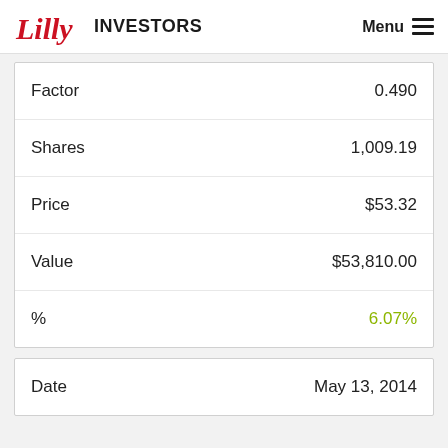Lilly INVESTORS Menu
| Field | Value |
| --- | --- |
| Factor | 0.490 |
| Shares | 1,009.19 |
| Price | $53.32 |
| Value | $53,810.00 |
| % | 6.07% |
| Field | Value |
| --- | --- |
| Date | May 13, 2014 |